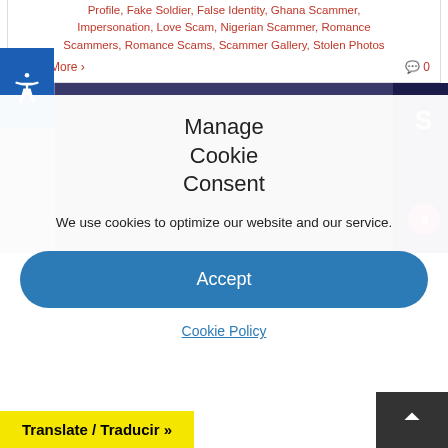Profile, Fake Soldier, False Identity, Ghana Scammer, Impersonation, Love Scam, Nigerian Scammer, Romance Scammers, Romance Scams, Scammer Gallery, Stolen Photos
Read More › 0
[Figure (screenshot): Cookie consent modal overlay on top of a website with dark blue images on left and right sides. The modal shows title 'Manage Cookie Consent', descriptive text, an Accept button, and Cookie Policy link.]
Stolen Photos Of Men/Males Used By Scammers – Happy New Year 2022
Scammer Fake/Stolen Photo Men, Stolen Photos Used By
Translate / Traducir »